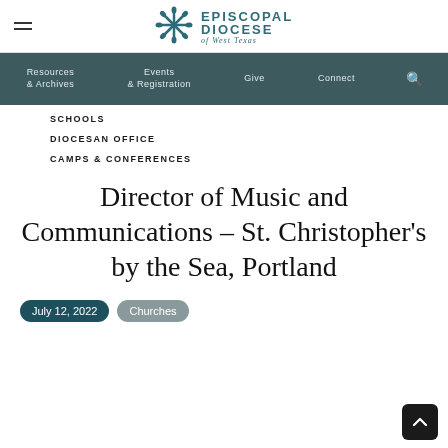[Figure (logo): Episcopal Diocese of West Texas logo with cross and snowflake-like decorative icon, teal color]
Resources & Archives | Events & Registration | Give | Connect
SCHOOLS
DIOCESAN OFFICE
CAMPS & CONFERENCES
Director of Music and Communications – St. Christopher's by the Sea, Portland
July 12, 2022
Churches